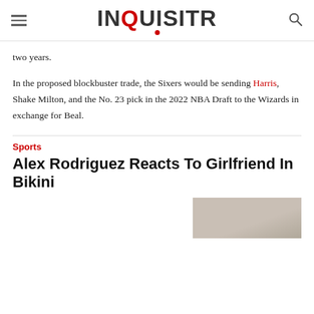INQUISITR
two years.
In the proposed blockbuster trade, the Sixers would be sending Harris, Shake Milton, and the No. 23 pick in the 2022 NBA Draft to the Wizards in exchange for Beal.
Sports
Alex Rodriguez Reacts To Girlfriend In Bikini
[Figure (photo): Partial photo of a person, cropped, light background]